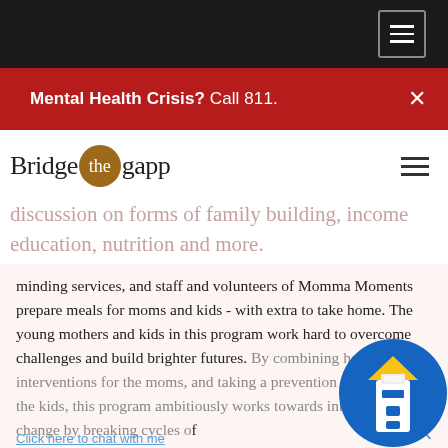Mental Health Crisis? Call 811.
[Figure (logo): Bridge the gapp logo with brown circle containing 'the']
minding services, and staff and volunteers of Momma Moments prepare meals for moms and kids - with extra to take home. The young mothers and kids in this program work hard to overcome challenges and build brighter futures. By combining healthy interventions for the moms, and taking a prevention approach with the kids, this program ambitiously works towards intergenerational change by breaking cycles of and homelessness.
Peer-to-peer support and strengths-based group for young parents or pregnant mothers. Provides Momma